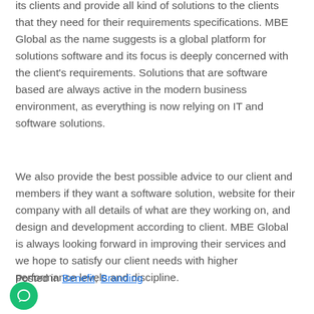its clients and provide all kind of solutions to the clients that they need for their requirements specifications. MBE Global as the name suggests is a global platform for solutions software and its focus is deeply concerned with the client's requirements. Solutions that are software based are always active in the modern business environment, as everything is now relying on IT and software solutions.
We also provide the best possible advice to our client and members if they want a software solution, website for their company with all details of what are they working on, and design and development according to client. MBE Global is always looking forward in improving their services and we hope to satisfy our client needs with higher performance levels and discipline.
Posted in Benefit, Branding